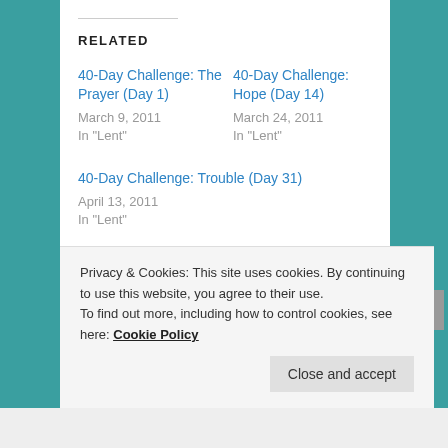RELATED
40-Day Challenge: The Prayer (Day 1)
March 9, 2011
In "Lent"
40-Day Challenge: Hope (Day 14)
March 24, 2011
In "Lent"
40-Day Challenge: Trouble (Day 31)
April 13, 2011
In "Lent"
This entry was posted in Lent, marriage and tagged "From Prayer That Asks", 40 Day Challenge, Amy Carmichael,
Privacy & Cookies: This site uses cookies. By continuing to use this website, you agree to their use.
To find out more, including how to control cookies, see here: Cookie Policy